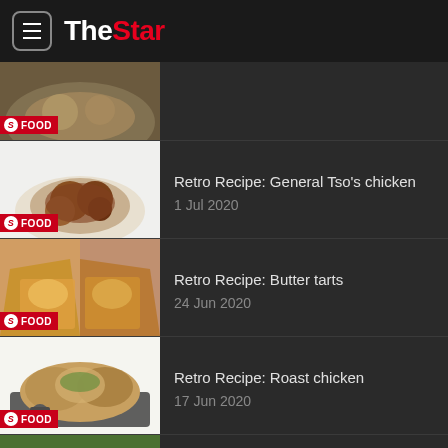The Star
[Figure (photo): Food photo with FOOD badge - partial, top-cropped]
[Figure (photo): Bowl of General Tso's chicken with FOOD badge]
Retro Recipe: General Tso's chicken
1 Jul 2020
[Figure (photo): Butter tarts held in hands with FOOD badge]
Retro Recipe: Butter tarts
24 Jun 2020
[Figure (photo): Roast chicken on tray with FOOD badge]
Retro Recipe: Roast chicken
17 Jun 2020
[Figure (photo): Chicken poppers with broccoli and tomatoes with FOOD badge]
Retro Recipe: Chicken poppers
11 Jun 2020